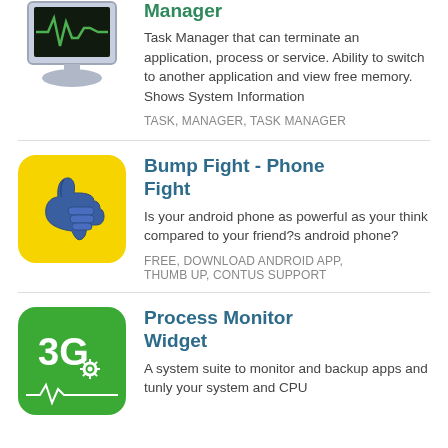[Figure (illustration): App icon for a Task Manager app — computer monitor with green pulse/EKG line on black screen]
Task Manager that can terminate an application, process or service. Ability to switch to another application and view free memory. Shows System Information
TASK, MANAGER, TASK MANAGER
Bump Fight - Phone Fight
[Figure (illustration): App icon for Bump Fight — yellow rounded square with a blue thumbs up hand illustration]
Is your android phone as powerful as your think compared to your friend?s android phone?
FREE, DOWNLOAD ANDROID APP, THUMB UP, CONTUS SUPPORT
Process Monitor Widget
[Figure (illustration): App icon for Process Monitor Widget — green rounded square with '3G' text and gear/CPU icon]
A system suite to monitor and backup apps and tunly your system and CPU